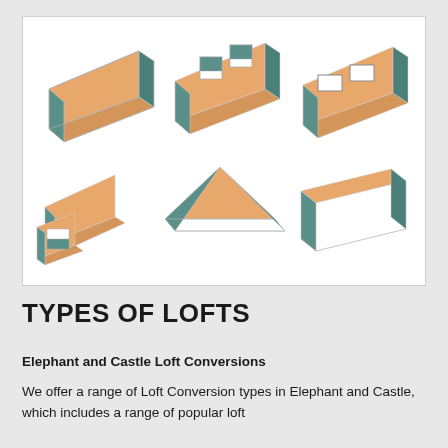[Figure (illustration): Six isometric illustrations of different loft/roof conversion types, arranged in two rows of three. Each shows a house roof structure with orange/tan roof panels and teal/green triangular gable ends. Top row: simple pitched roof, roof with dormer windows, roof with skylights. Bottom row: L-shaped roof conversion, hip-to-gable conversion, mansard or similar conversion.]
TYPES OF LOFTS
Elephant and Castle Loft Conversions
We offer a range of Loft Conversion types in Elephant and Castle, which includes a range of popular loft